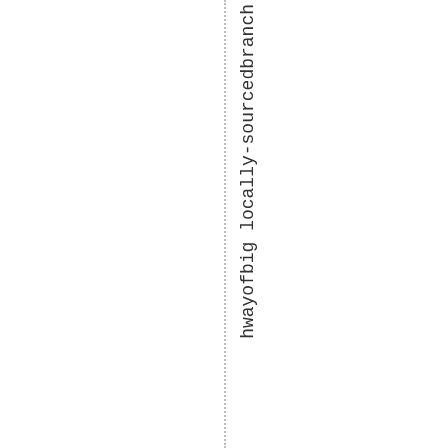hwayofbig locally-sourcedbranch